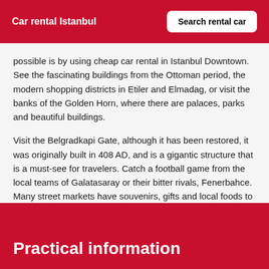Car rental Istanbul
possible is by using cheap car rental in Istanbul Downtown. See the fascinating buildings from the Ottoman period, the modern shopping districts in Etiler and Elmadag, or visit the banks of the Golden Horn, where there are palaces, parks and beautiful buildings.
Visit the Belgradkapi Gate, although it has been restored, it was originally built in 408 AD, and is a gigantic structure that is a must-see for travelers. Catch a football game from the local teams of Galatasaray or their bitter rivals, Fenerbahce. Many street markets have souvenirs, gifts and local foods to try, and remember, always try and haggle where you can.
Practical information